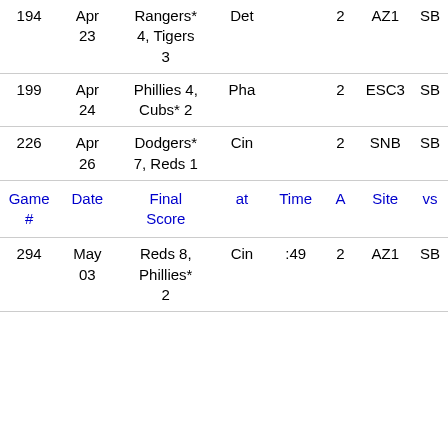| Game # | Date | Final Score | at | Time | A | Site | vs |
| --- | --- | --- | --- | --- | --- | --- | --- |
| 194 | Apr 23 | Rangers* 4, Tigers 3 | Det |  | 2 | AZ1 | SB |
| 199 | Apr 24 | Phillies 4, Cubs* 2 | Pha |  | 2 | ESC3 | SB |
| 226 | Apr 26 | Dodgers* 7, Reds 1 | Cin |  | 2 | SNB | SB |
| Game # | Date | Final Score | at | Time | A | Site | vs |
| 294 | May 03 | Reds 8, Phillies* 2 | Cin | :49 | 2 | AZ1 | SB |